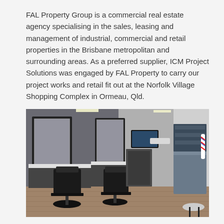FAL Property Group is a commercial real estate agency specialising in the sales, leasing and management of industrial, commercial and retail properties in the Brisbane metropolitan and surrounding areas. As a preferred supplier, ICM Project Solutions was engaged by FAL Property to carry our project works and retail fit out at the Norfolk Village Shopping Complex in Ormeau, Qld.
[Figure (photo): Interior of a barber shop with dark grey walls, two barber chairs in front of large framed mirrors, a TV mounted on the wall, a reception/display counter on the right with a barber pole, and a small round side table. The floor is wood-look laminate.]